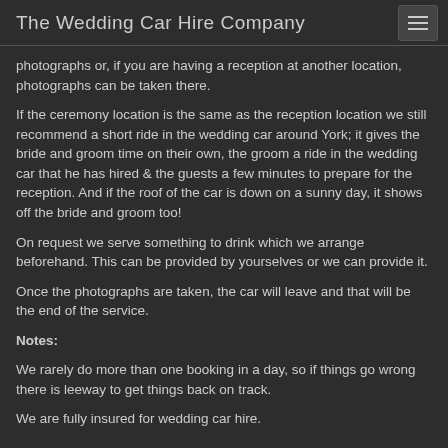The Wedding Car Hire Company
photographs or, if you are having a reception at another location, photographs can be taken there.
If the ceremony location is the same as the reception location we still recommend a short ride in the wedding car around York; it gives the bride and groom time on their own, the groom a ride in the wedding car that he has hired & the guests a few minutes to prepare for the reception. And if the roof of the car is down on a sunny day, it shows off the bride and groom too!
On request we serve something to drink which we arrange beforehand. This can be provided by yourselves or we can provide it.
Once the photographs are taken, the car will leave and that will be the end of the service.
Notes:
We rarely do more than one booking in a day, so if things go wrong there is leeway to get things back on track.
We are fully insured for wedding car hire.